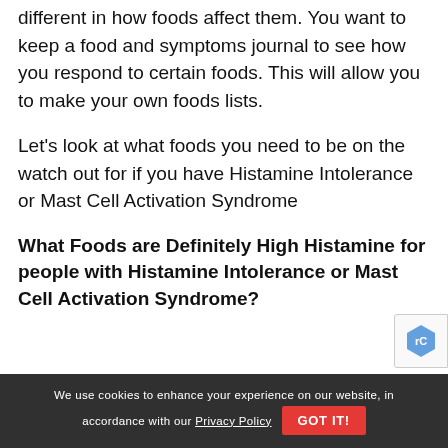different in how foods affect them. You want to keep a food and symptoms journal to see how you respond to certain foods. This will allow you to make your own foods lists.
Let's look at what foods you need to be on the watch out for if you have Histamine Intolerance or Mast Cell Activation Syndrome
What Foods are Definitely High Histamine for people with Histamine Intolerance or Mast Cell Activation Syndrome?
We use cookies to enhance your experience on our website, in accordance with our Privacy Policy  GOT IT!